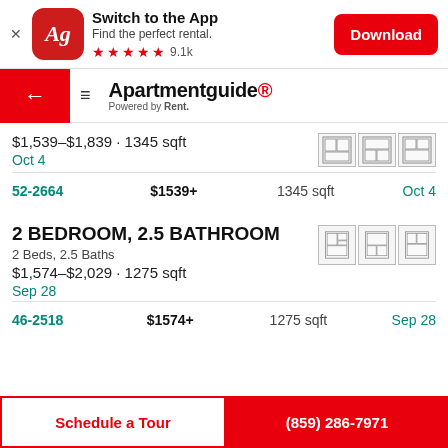[Figure (screenshot): App download banner with Apartmentguide Ag logo, 'Switch to the App', 'Find the perfect rental.', 5 red stars, 9.1k rating, and red Download button]
Apartmentguide® Powered by Rent.
$1,539–$1,839 · 1345 sqft
Oct 4
| Unit | Price | Sqft | Available |
| --- | --- | --- | --- |
| 52-2664 | $1539+ | 1345 sqft | Oct 4 |
2 BEDROOM, 2.5 BATHROOM
2 Beds, 2.5 Baths
$1,574–$2,029 · 1275 sqft
Sep 28
| Unit | Price | Sqft | Available |
| --- | --- | --- | --- |
| 46-2518 | $1574+ | 1275 sqft | Sep 28 |
Schedule a Tour
(859) 286-7971